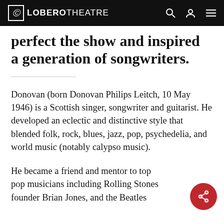LOBERO THEATRE
perfect the show and inspired a generation of songwriters.
Donovan (born Donovan Philips Leitch, 10 May 1946) is a Scottish singer, songwriter and guitarist. He developed an eclectic and distinctive style that blended folk, rock, blues, jazz, pop, psychedelia, and world music (notably calypso music).
He became a friend and mentor to top pop musicians including Rolling Stones founder Brian Jones, and the Beatles